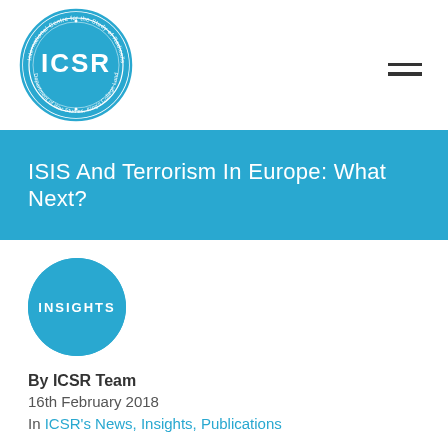[Figure (logo): ICSR logo — circular badge with text 'International Centre for the Study of Radicalisation' and 'Department of War Studies, King's College London' around the perimeter, with 'ICSR' in large letters in the center, in blue and white.]
ISIS And Terrorism In Europe: What Next?
[Figure (logo): Blue circle badge with white text 'INSIGHTS']
By ICSR Team
16th February 2018
In ICSR's News, Insights, Publications